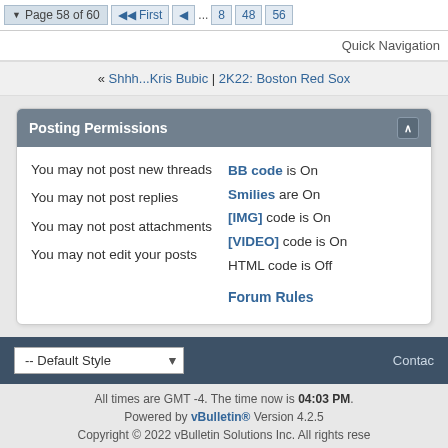Page 58 of 60  First  ...  8  48  56
Quick Navigation
« Shhh...Kris Bubic | 2K22: Boston Red Sox
Posting Permissions
You may not post new threads
You may not post replies
You may not post attachments
You may not edit your posts
BB code is On
Smilies are On
[IMG] code is On
[VIDEO] code is On
HTML code is Off
Forum Rules
-- Default Style   Contact
All times are GMT -4. The time now is 04:03 PM.
Powered by vBulletin® Version 4.2.5
Copyright © 2022 vBulletin Solutions Inc. All rights reserved.